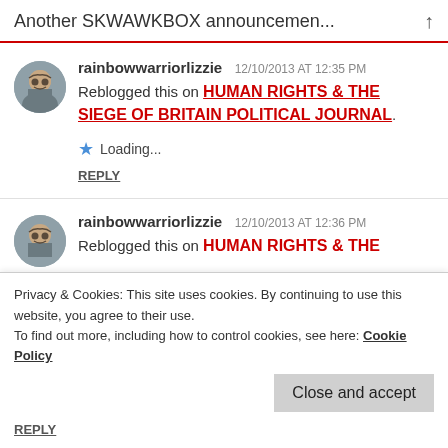Another SKWAWKBOX announcemen...
rainbowwarriorlizzie  12/10/2013 AT 12:35 PM
Reblogged this on HUMAN RIGHTS & THE SIEGE OF BRITAIN POLITICAL JOURNAL.
Loading...
REPLY
rainbowwarriorlizzie  12/10/2013 AT 12:36 PM
Reblogged this on HUMAN RIGHTS & THE
Privacy & Cookies: This site uses cookies. By continuing to use this website, you agree to their use.
To find out more, including how to control cookies, see here: Cookie Policy
Close and accept
REPLY